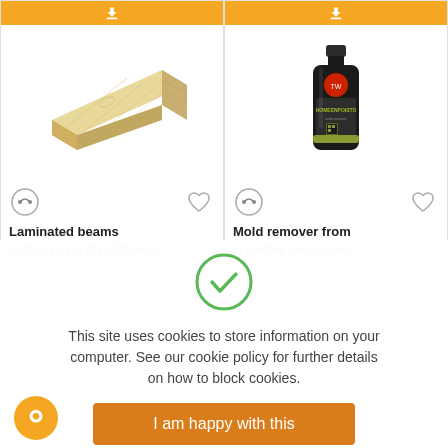[Figure (photo): Orange download button (top of left product card)]
[Figure (photo): Orange download button (top of right product card)]
[Figure (photo): Photo of laminated wood beam from Siberian pine]
[Figure (photo): Photo of Tikkurila mold remover black bottle]
Laminated beams (substructure) from Siberian...
Mold remover from unpainted and painted...
[Figure (illustration): Green circle with checkmark — cookie consent icon]
This site uses cookies to store information on your computer. See our cookie policy for further details on how to block cookies.
I am happy with this